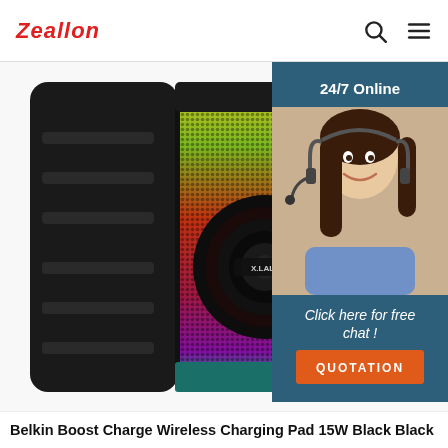Zeallon
[Figure (photo): A large black portable Bluetooth speaker with colorful LED lighting on the front grille (yellow, green, red, pink gradient), a circular woofer in the center with an 'X.LALL' label, and ribbed black sides. Overlaid on the right is a customer service chat widget showing a smiling female agent wearing a headset, with text '24/7 Online', 'Click here for free chat!', and an orange 'QUOTATION' button, all on a dark teal/navy background.]
Belkin Boost Charge Wireless Charging Pad 15W Black Black